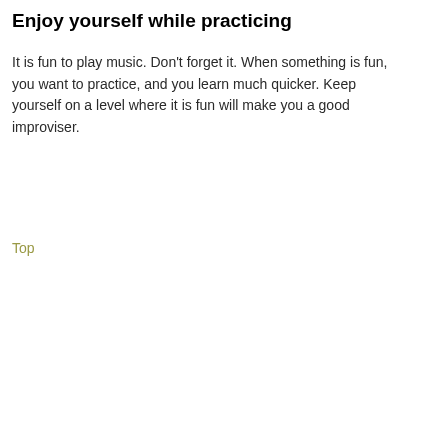Enjoy yourself while practicing
It is fun to play music. Don't forget it. When something is fun, you want to practice, and you learn much quicker. Keep yourself on a level where it is fun will make you a good improviser.
Top